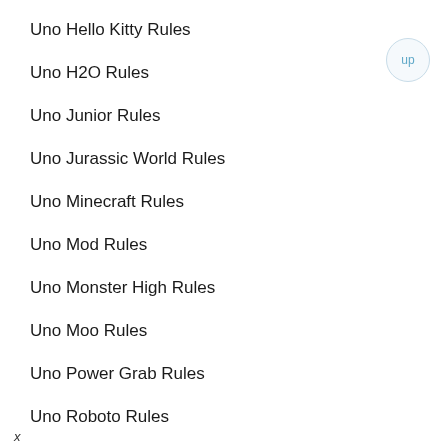Uno Hello Kitty Rules
Uno H2O Rules
Uno Junior Rules
Uno Jurassic World Rules
Uno Minecraft Rules
Uno Mod Rules
Uno Monster High Rules
Uno Moo Rules
Uno Power Grab Rules
Uno Roboto Rules
Uno Spin Rules
Uno Stacko Rules
x